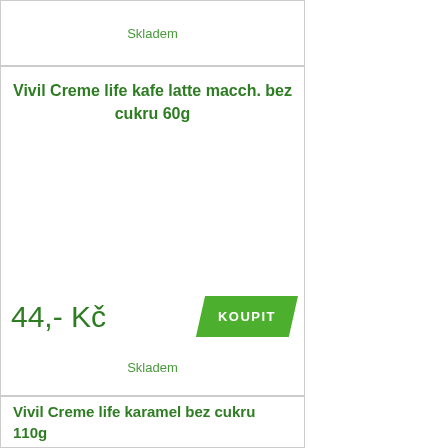Skladem
Vivil Creme life kafe latte macch. bez cukru 60g
44,- Kč
KOUPIT
Skladem
Vivil Creme life karamel bez cukru 110g